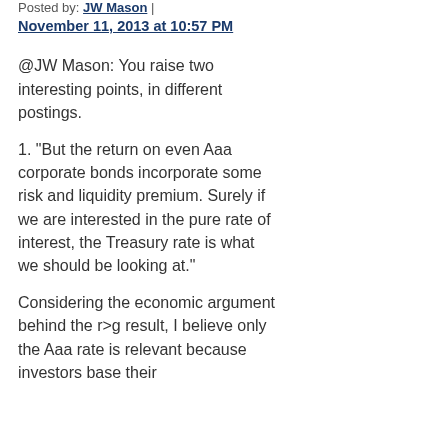Posted by: JW Mason | November 11, 2013 at 10:57 PM
@JW Mason: You raise two interesting points, in different postings.
1. "But the return on even Aaa corporate bonds incorporate some risk and liquidity premium. Surely if we are interested in the pure rate of interest, the Treasury rate is what we should be looking at."
Considering the economic argument behind the r>g result, I believe only the Aaa rate is relevant because investors base their investment...